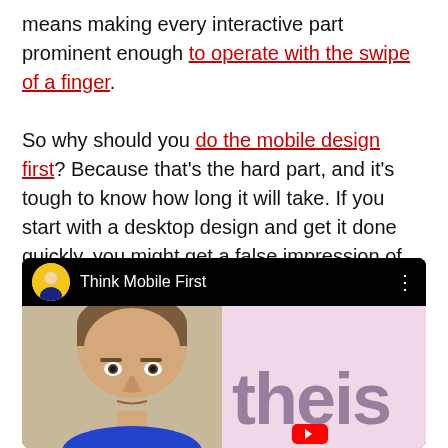means making every interactive part prominent enough to operate with the swipe of a finger. So why should you do the mobile design first? Because that's the hard part, and it's tough to know how long it will take. If you start with a desktop design and get it done quickly, you might get a false impression of how much time you have.
[Figure (screenshot): YouTube-style video player thumbnail showing 'Think Mobile First' with a channel avatar (person with yellow background), video title, three-dot menu, and video frame showing a man's face on left and pink background with partial brand text on the right.]